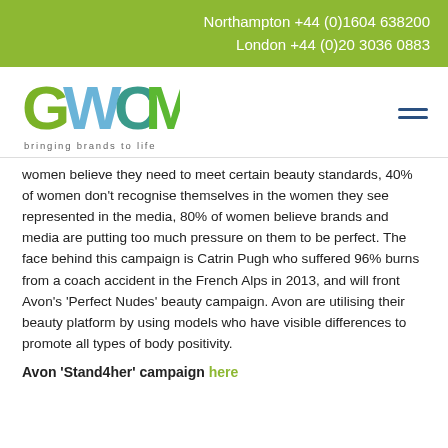Northampton +44 (0)1604 638200
London +44 (0)20 3036 0883
[Figure (logo): GWCM logo with coloured letters G (green/grey), W (blue), C (teal), M (green), and tagline 'bringing brands to life']
women believe they need to meet certain beauty standards, 40% of women don't recognise themselves in the women they see represented in the media, 80% of women believe brands and media are putting too much pressure on them to be perfect. The face behind this campaign is Catrin Pugh who suffered 96% burns from a coach accident in the French Alps in 2013, and will front Avon's 'Perfect Nudes' beauty campaign. Avon are utilising their beauty platform by using models who have visible differences to promote all types of body positivity.
Avon 'Stand4her' campaign here